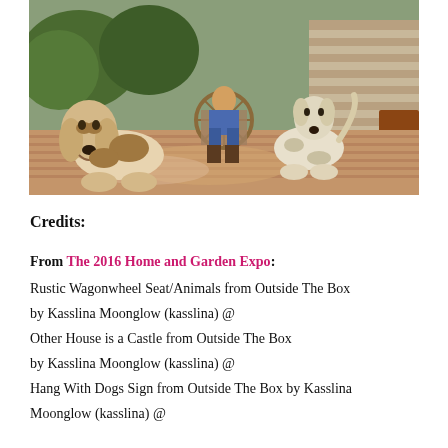[Figure (photo): A 3D rendered scene showing two dogs (a Basset Hound on the left and a lighter short-haired dog on the right) with a person sitting in a rustic wooden wagon wheel chair in the center, on a wooden deck porch with trees and a cabin in the background.]
Credits:
From The 2016 Home and Garden Expo:
Rustic Wagonwheel Seat/Animals from Outside The Box by Kasslina Moonglow (kasslina) @
Other House is a Castle from Outside The Box by Kasslina Moonglow (kasslina) @
Hang With Dogs Sign from Outside The Box by Kasslina Moonglow (kasslina) @